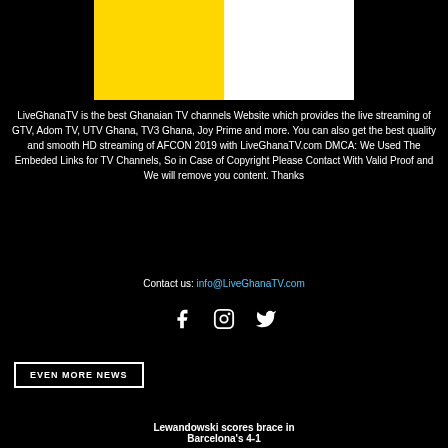[Figure (logo): Logo with yellow and white rectangular sections side by side]
LiveGhanaTV is the best Ghanaian TV channels Website which provides the live streaming of GTV, Adom TV, UTV Ghana, TV3 Ghana, Joy Prime and more. You can also get the best quality and smooth HD streaming of AFCON 2019 with LiveGhanaTV.com DMCA: We Used The Embeded Links for TV Channels, So in Case of Copyright Please Contact With Valid Proof and We will remove you content. Thanks
Contact us: info@LiveGhanaTV.com
[Figure (illustration): Social media icons: Facebook, Instagram, Twitter]
EVEN MORE NEWS
Lewandowski scores brace in Barcelona's 4-1